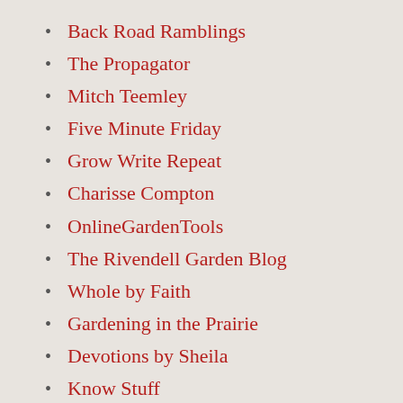Back Road Ramblings
The Propagator
Mitch Teemley
Five Minute Friday
Grow Write Repeat
Charisse Compton
OnlineGardenTools
The Rivendell Garden Blog
Whole by Faith
Gardening in the Prairie
Devotions by Sheila
Know Stuff